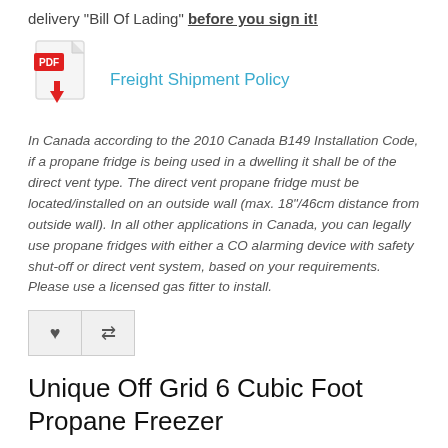delivery "Bill Of Lading" before you sign it!
[Figure (illustration): PDF document icon with a red PDF label and a red download arrow]
Freight Shipment Policy
In Canada according to the 2010 Canada B149 Installation Code, if a propane fridge is being used in a dwelling it shall be of the direct vent type. The direct vent propane fridge must be located/installed on an outside wall (max. 18"/46cm distance from outside wall). In all other applications in Canada, you can legally use propane fridges with either a CO alarming device with safety shut-off or direct vent system, based on your requirements. Please use a licensed gas fitter to install.
[Figure (other): Wishlist (heart) and compare (arrows) buttons]
Unique Off Grid 6 Cubic Foot Propane Freezer
Brands Unique
Product Code: Unique-UGP-6F
Availability: In Stock